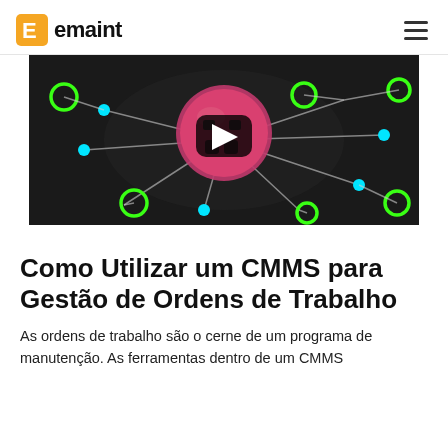emaint
[Figure (screenshot): Video thumbnail showing a 3D robot or sphere connected by a network of green circle nodes and cyan dot nodes on a dark background, with a play button overlay in the center.]
Como Utilizar um CMMS para Gestão de Ordens de Trabalho
As ordens de trabalho são o cerne de um programa de manutenção. As ferramentas dentro de um CMMS